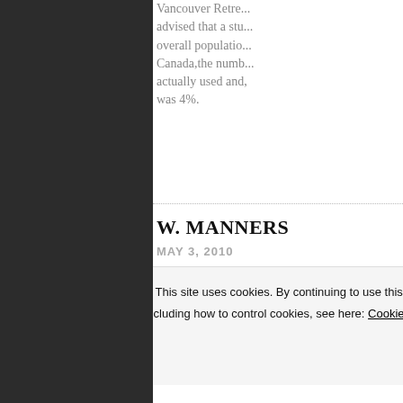Vancouver Retre... advised that a stu... overall populatio... Canada, the numb... actually used and... was 4%.
W. MANNERS
MAY 3, 2010
If the population... the 1.8 million pe... Brazil, then I coul... what they have d... should do. Our Re...
Privacy & Cookies: This site uses cookies. By continuing to use this website, you agree to their use.
To find out more, including how to control cookies, see here: Cookie Policy
Close and accept